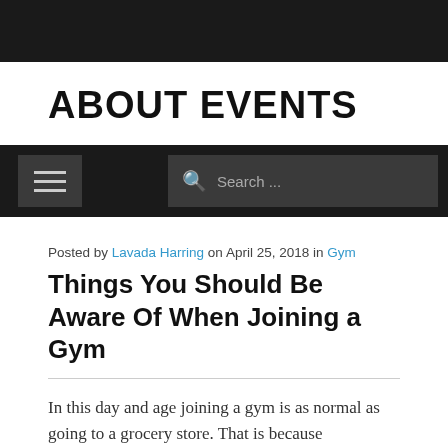ABOUT EVENTS
[Figure (screenshot): Navigation bar with hamburger menu icon on the left and a search box on the right, on a dark background]
Posted by Lavada Harring on April 25, 2018 in Gym
Things You Should Be Aware Of When Joining a Gym
In this day and age joining a gym is as normal as going to a grocery store. That is because